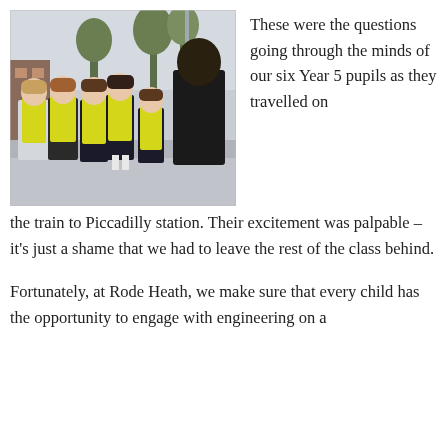[Figure (photo): Group photo of six children in yellow high-visibility vests and school uniforms, standing with an adult in a black jacket, outdoors near a building with trees in the background.]
These were the questions going through the minds of our six Year 5 pupils as they travelled on the train to Piccadilly station. Their excitement was palpable – it's just a shame that we had to leave the rest of the class behind.
Fortunately, at Rode Heath, we make sure that every child has the opportunity to engage with engineering on a